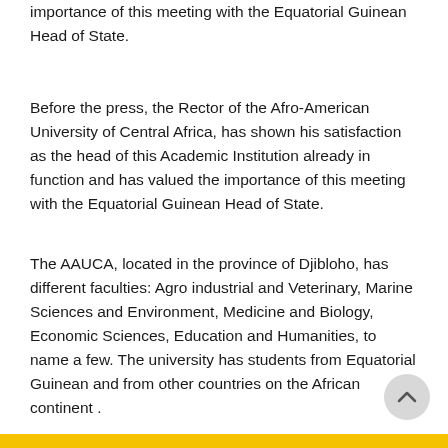importance of this meeting with the Equatorial Guinean Head of State.
Before the press, the Rector of the Afro-American University of Central Africa, has shown his satisfaction as the head of this Academic Institution already in function and has valued the importance of this meeting with the Equatorial Guinean Head of State.
The AAUCA, located in the province of Djibloho, has different faculties: Agro industrial and Veterinary, Marine Sciences and Environment, Medicine and Biology, Economic Sciences, Education and Humanities, to name a few. The university has students from Equatorial Guinean and from other countries on the African continent .